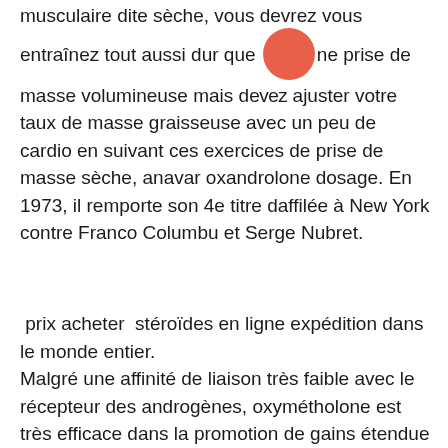musculaire dite sèche, vous devrez vous entraînez tout aussi dur que [image] ne prise de masse volumineuse mais devez ajuster votre taux de masse graisseuse avec un peu de cardio en suivant ces exercices de prise de masse sèche, anavar oxandrolone dosage. En 1973, il remporte son 4e titre daffilée à New York contre Franco Columbu et Serge Nubret.
prix acheter  stéroïdes en ligne expédition dans le monde entier.
Malgré une affinité de liaison très faible avec le récepteur des androgènes, oxymétholone est très efficace dans la promotion de gains étendue de la masse corporelle, principalement en améliorant considérablement la synthèse des protéines. Pour cette raison, il est souvent utilisé par les culturistes et les athlètes pratiquant la musculation ou un autre sport comme dopage pour améliorer les performances